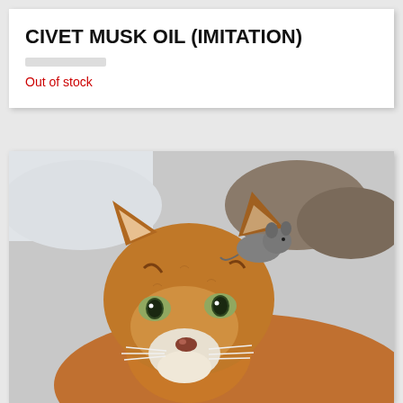CIVET MUSK OIL (IMITATION)
Out of stock
[Figure (photo): Close-up photograph of a cougar (mountain lion) with golden-brown fur and green eyes, resting with head up. A small grey animal (possibly a mouse or small rodent) is perched on the cougar's head between its ears. Rocky background visible.]